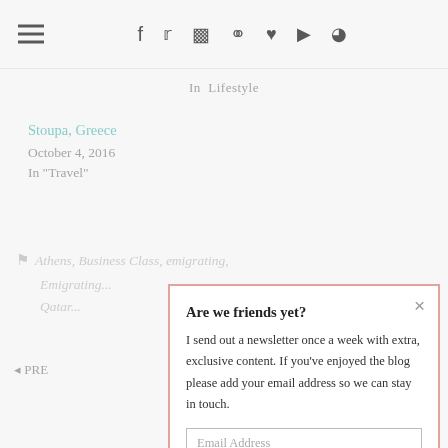☰ f t ⧠ ⊕ ♥ ▶ )))
In  Lifestyle
Stoupa, Greece
October 4, 2016
In "Travel"
Athens, Business Class, emigrating, Emigrating..., Qatar...
◄ PRE
[Figure (screenshot): Newsletter signup modal popup with salmon/pink border. Title: 'Are we friends yet?' Body text: 'I send out a newsletter once a week with extra, exclusive content. If you've enjoyed the blog please add your email address so we can stay in touch.' Email Address input field and Sign up button. Close (×) button in top right.]